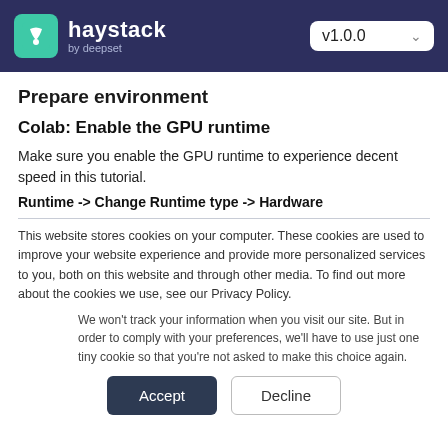haystack by deepset — v1.0.0
Prepare environment
Colab: Enable the GPU runtime
Make sure you enable the GPU runtime to experience decent speed in this tutorial.
Runtime -> Change Runtime type -> Hardware
This website stores cookies on your computer. These cookies are used to improve your website experience and provide more personalized services to you, both on this website and through other media. To find out more about the cookies we use, see our Privacy Policy.
We won't track your information when you visit our site. But in order to comply with your preferences, we'll have to use just one tiny cookie so that you're not asked to make this choice again.